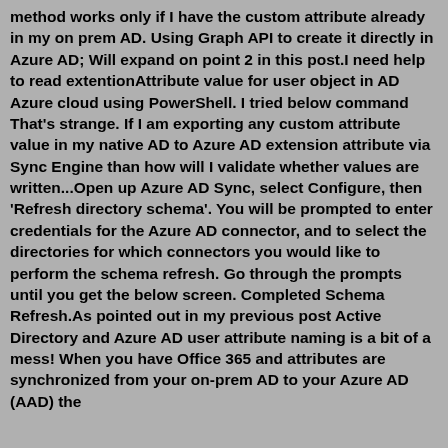method works only if I have the custom attribute already in my on prem AD. Using Graph API to create it directly in Azure AD; Will expand on point 2 in this post.I need help to read extentionAttribute value for user object in AD Azure cloud using PowerShell. I tried below command That's strange. If I am exporting any custom attribute value in my native AD to Azure AD extension attribute via Sync Engine than how will I validate whether values are written...Open up Azure AD Sync, select Configure, then 'Refresh directory schema'. You will be prompted to enter credentials for the Azure AD connector, and to select the directories for which connectors you would like to perform the schema refresh. Go through the prompts until you get the below screen. Completed Schema Refresh.As pointed out in my previous post Active Directory and Azure AD user attribute naming is a bit of a mess! When you have Office 365 and attributes are synchronized from your on-prem AD to your Azure AD (AAD) the attributes can get a bit confusing. S...